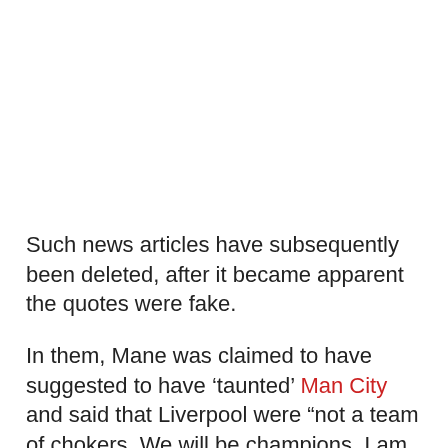Such news articles have subsequently been deleted, after it became apparent the quotes were fake.
In them, Mane was claimed to have suggested to have ‘taunted’ Man City and said that Liverpool were “not a team of chokers. We will be champions. I am sure we will be champions of England."